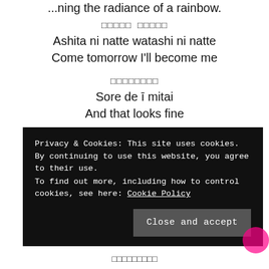...ning the radiance of a rainbow.
□□□□□ □□□□□
Ashita ni natte watashi ni natte
Come tomorrow I'll become me
□□□□□□□□
Sore de ī mitai
And that looks fine
□□□□□□□□□□□□□□□
Privacy & Cookies: This site uses cookies. By continuing to use this website, you agree to their use.
To find out more, including how to control cookies, see here: Cookie Policy
Close and accept
□□□□□□□□□